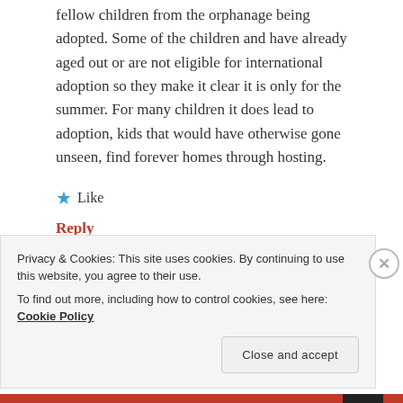fellow children from the orphanage being adopted. Some of the children and have already aged out or are not eligible for international adoption so they make it clear it is only for the summer. For many children it does lead to adoption, kids that would have otherwise gone unseen, find forever homes through hosting.
★ Like
Reply
LEAVE A REPLY TO KIRSTEN CANCEL REPLY
Privacy & Cookies: This site uses cookies. By continuing to use this website, you agree to their use.
To find out more, including how to control cookies, see here: Cookie Policy